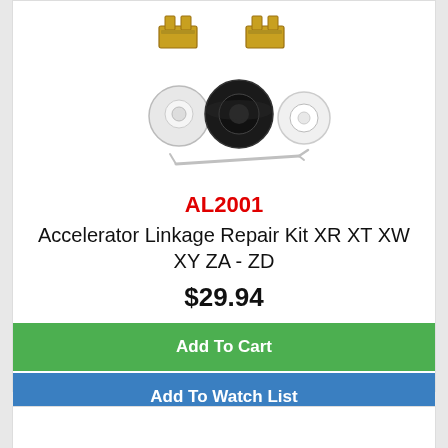[Figure (photo): Accelerator linkage repair kit parts: two gold metal clips at top, one white plastic cap, one black rubber grommet, one white washer/ring, and one cotter pin/split pin]
AL2001
Accelerator Linkage Repair Kit XR XT XW XY ZA - ZD
$29.94
Add To Cart
Add To Watch List